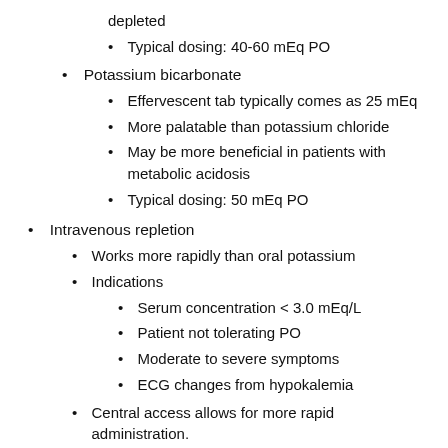depleted
Typical dosing: 40-60 mEq PO
Potassium bicarbonate
Effervescent tab typically comes as 25 mEq
More palatable than potassium chloride
May be more beneficial in patients with metabolic acidosis
Typical dosing: 50 mEq PO
Intravenous repletion
Works more rapidly than oral potassium
Indications
Serum concentration < 3.0 mEq/L
Patient not tolerating PO
Moderate to severe symptoms
ECG changes from hypokalemia
Central access allows for more rapid administration.
Most institutions have protocols setting a